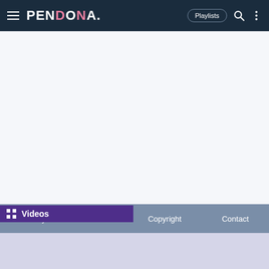Pendona. — navigation header with Playlists, Search, and Menu icons
[Figure (screenshot): Main content area — white/light grey background, mostly empty]
Videos
Privacy  Terms  Copyright  Contact